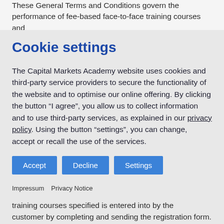These General Terms and Conditions govern the performance of fee-based face-to-face training courses and
Cookie settings
The Capital Markets Academy website uses cookies and third-party service providers to secure the functionality of the website and to optimise our online offering. By clicking the button “I agree”, you allow us to collect information and to use third-party services, as explained in our privacy policy. Using the button “settings”, you can change, accept or recall the use of the services.
Impressum   Privacy Notice
training courses specified is entered into by the customer by completing and sending the registration form.